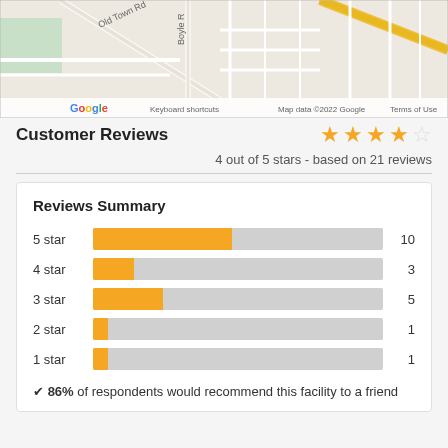[Figure (map): Google Maps view showing street map with Old Town Rd, Boyle Rd visible. Google logo and attribution 'Keyboard shortcuts | Map data ©2022 Google | Terms of Use' at bottom.]
Customer Reviews
4 out of 5 stars - based on 21 reviews
Reviews Summary
[Figure (bar-chart): Reviews Summary]
✔ 86% of respondents would recommend this facility to a friend